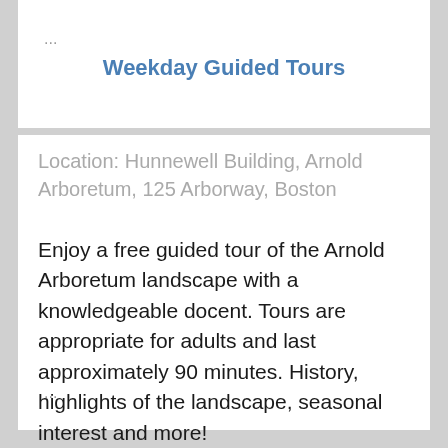...
Weekday Guided Tours
Location: Hunnewell Building, Arnold Arboretum, 125 Arborway, Boston
Enjoy a free guided tour of the Arnold Arboretum landscape with a knowledgeable docent. Tours are appropriate for adults and last approximately 90 minutes. History, highlights of the landscape, seasonal interest and more!
...